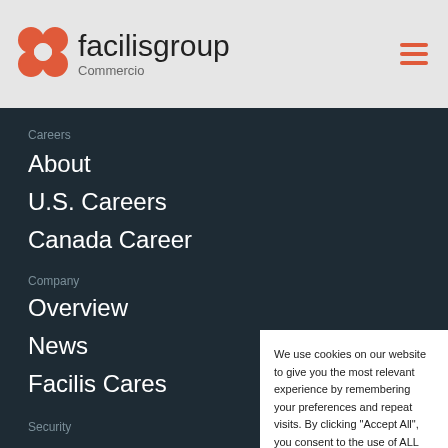[Figure (logo): Facilis Group logo with orange flower icon, text 'facilisgroup' and 'Commercio' subtitle]
facilisgroup Commercio
Careers
About
U.S. Careers
Canada Careers
Company
Overview
News
Facilis Cares
Security
We use cookies on our website to give you the most relevant experience by remembering your preferences and repeat visits. By clicking "Accept All", you consent to the use of ALL the cookies. However, you may visit "Cookie Settings" to provide a controlled consent.